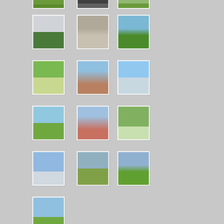[Figure (photo): Partial photo at top - outdoor scene with trees/grass]
[Figure (photo): Partial photo at top - outdoor scene]
[Figure (photo): Partial photo at top - outdoor scene]
[Figure (photo): White building/warehouse with red flowers in foreground]
[Figure (photo): Brick building with door and window - small municipal building]
[Figure (photo): Yellow tree in autumn with park pavilion]
[Figure (photo): Walking path with red fence posts and green grass]
[Figure (photo): Municipal building with American flags on flagpoles]
[Figure (photo): Straight road/street into horizon with blue sky]
[Figure (photo): Open field with green grass and blue sky]
[Figure (photo): Brick building with American flag - historic building]
[Figure (photo): Gazebo in park with trees]
[Figure (photo): Water tower with blue sky]
[Figure (photo): Street scene with American flag on pole]
[Figure (photo): American flag on pole with red building]
[Figure (photo): Street scene with utility poles and blue sky]